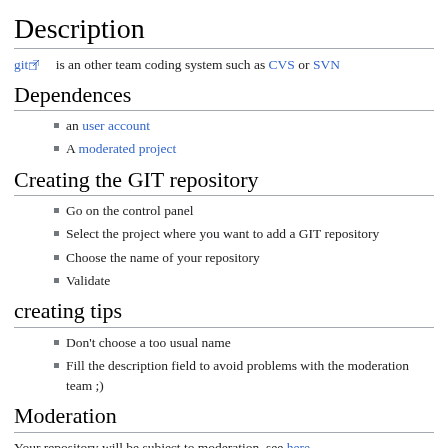Description
git is an other team coding system such as CVS or SVN
Dependences
an user account
A moderated project
Creating the GIT repository
Go on the control panel
Select the project where you want to add a GIT repository
Choose the name of your repository
Validate
creating tips
Don't choose a too usual name
Fill the description field to avoid problems with the moderation team ;)
Moderation
Your repository will be subject to moderation, see here